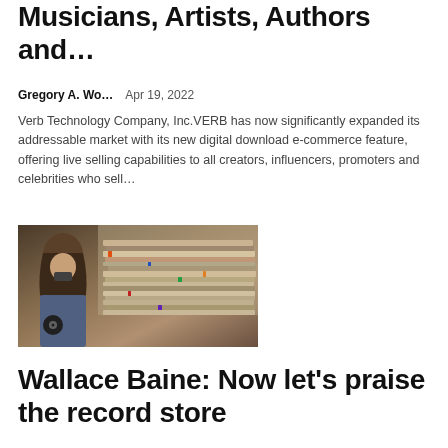Musicians, Artists, Authors and…
Gregory A. Wo…    Apr 19, 2022
Verb Technology Company, Inc.VERB has now significantly expanded its addressable market with its new digital download e-commerce feature, offering live selling capabilities to all creators, influencers, promoters and celebrities who sell…
[Figure (photo): Person with long hair browsing through a large stack of vinyl records at what appears to be a record store or market]
Wallace Baine: Now let's praise the record store